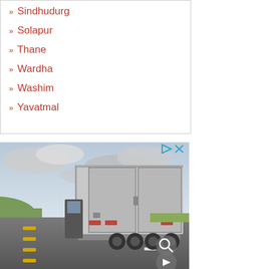» Sindhudurg
» Solapur
» Thane
» Wardha
» Washim
» Yavatmal
[Figure (photo): Rear view of a large semi-truck with refrigerated trailer driving on a highway with green hills and cloudy sky. Ad controls (play and close icons) visible in top right. Magnify icon and next-arrow overlay visible in bottom right.]